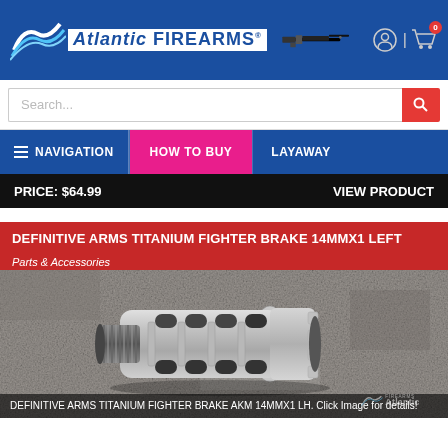[Figure (logo): Atlantic Firearms logo with wave graphic and AK-style rifle silhouette on blue header bar]
Search...
NAVIGATION | HOW TO BUY | LAYAWAY
PRICE: $64.99   VIEW PRODUCT
DEFINITIVE ARMS TITANIUM FIGHTER BRAKE 14MMX1 LEFT
Parts & Accessories
[Figure (photo): Photo of a silver/titanium muzzle brake for AKM 14x1 LH thread, shown on concrete surface]
DEFINITIVE ARMS TITANIUM FIGHTER BRAKE AKM 14MMX1 LH. Click Image for details!